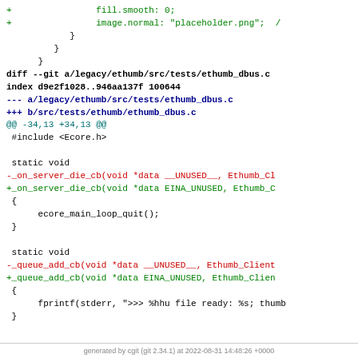Code diff snippet showing git diff output for legacy/ethumb/src/tests/ethumb_dbus.c with added/removed lines in green/red, file headers in blue/bold, and hunk headers in cyan.
generated by cgit (git 2.34.1) at 2022-08-31 14:48:26 +0000